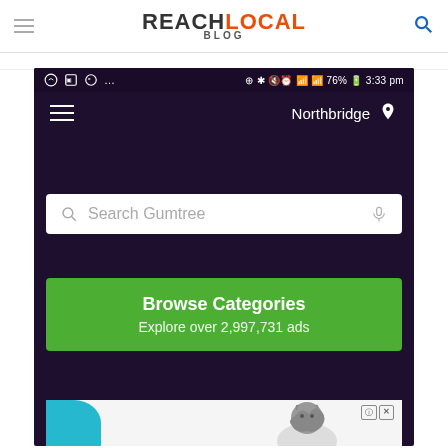REACHLOCAL BLOG
[Figure (screenshot): Screenshot of the Gumtree mobile app showing a dark purple interface with status bar, hamburger menu, Northbridge location indicator, a search box labeled 'Search Gumtree', and a green 'Browse Categories' button with text 'Explore over 2,997,731 ads'. A partial advertisement with a cat image is visible at the bottom.]